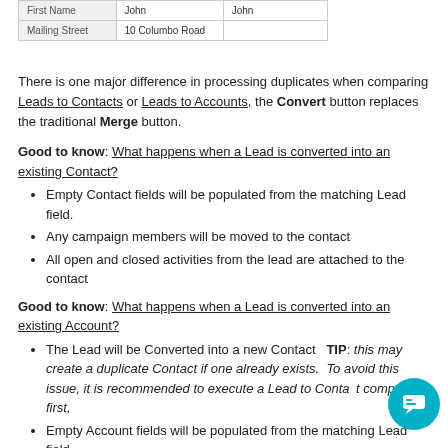[Figure (table-as-image): Table showing First Name: John / John and Mailing Street: 10 Columbo Road]
There is one major difference in processing duplicates when comparing Leads to Contacts or Leads to Accounts, the Convert button replaces the traditional Merge button.
Good to know: What happens when a Lead is converted into an existing Contact?
Empty Contact fields will be populated from the matching Lead field.
Any campaign members will be moved to the contact
All open and closed activities from the lead are attached to the contact
Good to know: What happens when a Lead is converted into an existing Account?
The Lead will be Converted into a new Contact   TIP: this may create a duplicate Contact if one already exists.  To avoid this issue, it is recommended to execute a Lead to Contact compare first,
Empty Account fields will be populated from the matching Lead field.